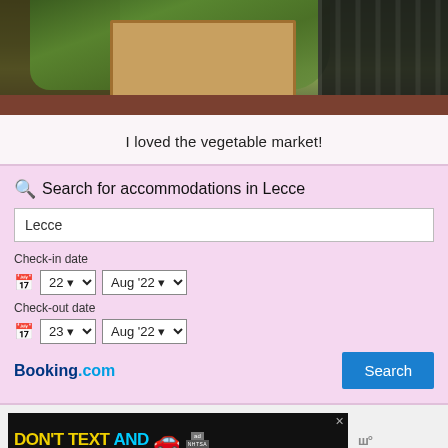[Figure (photo): Photo of a vegetable market showing crates of artichokes and leafy greens with black plastic bins]
I loved the vegetable market!
[Figure (screenshot): Booking.com accommodation search widget for Lecce with check-in date 22 Aug '22 and check-out date 23 Aug '22]
[Figure (screenshot): Advertisement banner: DON'T TEXT AND [car emoji] with NHTSA logo and ad label]